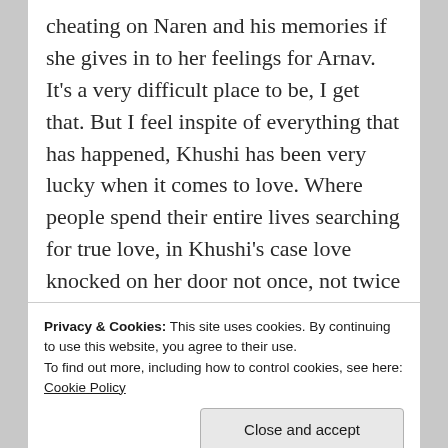cheating on Naren and his memories if she gives in to her feelings for Arnav. It's a very difficult place to be, I get that. But I feel inspite of everything that has happened, Khushi has been very lucky when it comes to love. Where people spend their entire lives searching for true love, in Khushi's case love knocked on her door not once, not twice but thrice in her life. All she has to do is welcome it with open arms. I guess she needs to understand that just because she lets love in her life, doesn't mean
Privacy & Cookies: This site uses cookies. By continuing to use this website, you agree to their use.
To find out more, including how to control cookies, see here: Cookie Policy
Close and accept
telltale sign of her eyes droop being in love. But